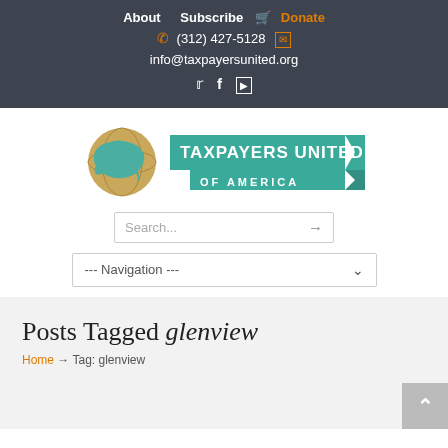About   Subscribe   🛒 Donate
📞 (312) 427-5128  ✉
info@taxpayersunited.org
🐦 f ▶
[Figure (logo): Taxpayers United of America logo with globe and teal banner]
Search...
--- Navigation ---
Posts Tagged glenview
Home → Tag: glenview